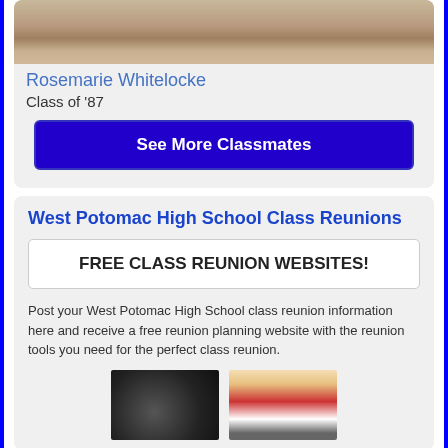[Figure (photo): Profile photo of person, close-up, beige/skin tones]
Rosemarie Whitelocke
Class of '87
See More Classmates
West Potomac High School Class Reunions
FREE CLASS REUNION WEBSITES!
Post your West Potomac High School class reunion information here and receive a free reunion planning website with the reunion tools you need for the perfect class reunion.
[Figure (photo): Group photo at reunion event, dark background]
[Figure (photo): Group photo at reunion event, lighter background with mixed clothing colors]